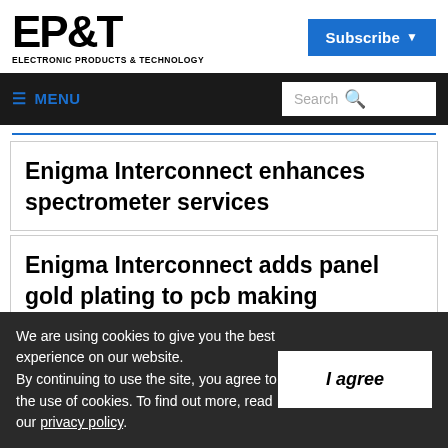EP&T ELECTRONIC PRODUCTS & TECHNOLOGY
[Figure (logo): EP&T Electronic Products & Technology logo with large bold EP&T text and subtitle]
Subscribe
≡ MENU | Search
Enigma Interconnect enhances spectrometer services
Enigma Interconnect adds panel gold plating to pcb making
We are using cookies to give you the best experience on our website. By continuing to use the site, you agree to the use of cookies. To find out more, read our privacy policy.
I agree